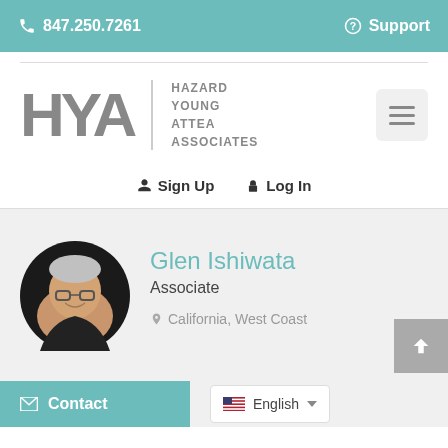📞 847.250.7261   ❓ Support
[Figure (logo): HYA Hazard Young Attea Associates logo with hamburger menu button]
👤 Sign Up  🔒 Log In
[Figure (photo): Circular profile photo of Glen Ishiwata]
Glen Ishiwata
Associate
📍 California, West Coast
✉ Contact
🏳 English ∨